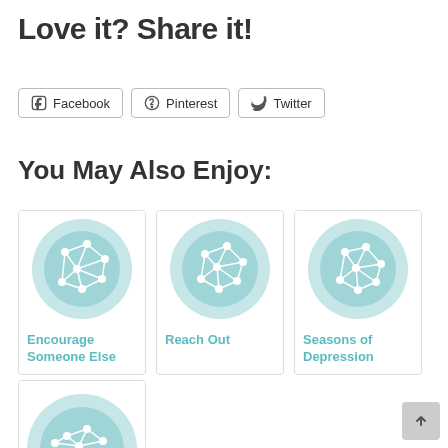Love it? Share it!
Facebook  Pinterest  Twitter
You May Also Enjoy:
[Figure (illustration): Card with teal network graph icon for 'Encourage Someone Else']
[Figure (illustration): Card with teal network graph icon for 'Reach Out']
[Figure (illustration): Card with teal network graph icon for 'Seasons of Depression']
[Figure (illustration): Card with teal network graph icon (partial, bottom row)]